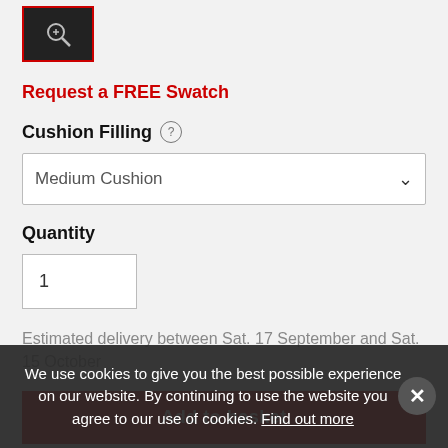[Figure (photo): Small product thumbnail image in a red-bordered box, dark background with a search/zoom icon]
Request a FREE Swatch
Cushion Filling
Medium Cushion
Quantity
1
Estimated delivery between Sat. 17 September and Sat. 15 October
Add to basket
We use cookies to give you the best possible experience on our website. By continuing to use the website you agree to our use of cookies. Find out more
Add to wish list